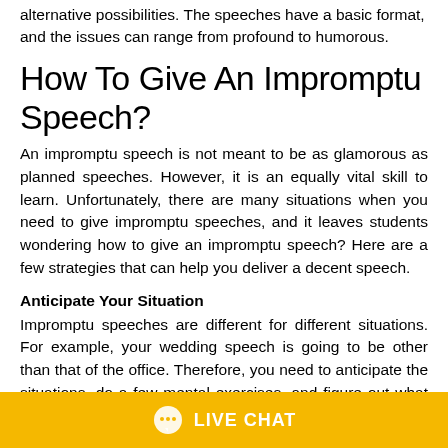alternative possibilities. The speeches have a basic format, and the issues can range from profound to humorous.
How To Give An Impromptu Speech?
An impromptu speech is not meant to be as glamorous as planned speeches. However, it is an equally vital skill to learn. Unfortunately, there are many situations when you need to give impromptu speeches, and it leaves students wondering how to give an impromptu speech? Here are a few strategies that can help you deliver a decent speech.
Anticipate Your Situation
Impromptu speeches are different for different situations. For example, your wedding speech is going to be other than that of the office. Therefore, you need to anticipate the situations, do a few mental exercises, and figure out what topics you can be asked to speak about. Even if your guess is not correct, you would have brainstormed millions
LIVE CHAT